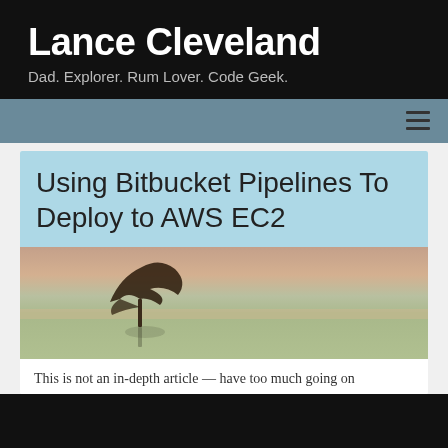Lance Cleveland
Dad. Explorer. Rum Lover. Code Geek.
Using Bitbucket Pipelines To Deploy to AWS EC2
[Figure (photo): A lone bare tree standing in still water with a soft, muted sunset sky — pinkish and sandy tones in background]
This is not an in-depth article — have too much going on